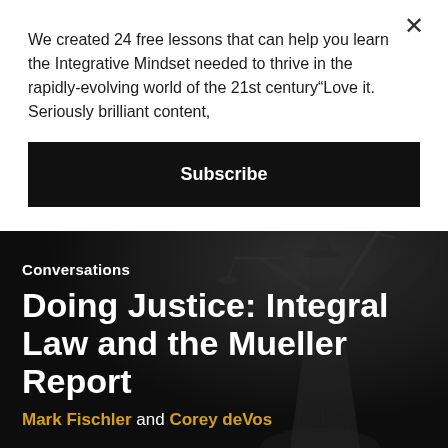We created 24 free lessons that can help you learn the Integrative Mindset needed to thrive in the rapidly-evolving world of the 21st century“Love it. Seriously brilliant content,
Subscribe
Conversations
Doing Justice: Integral Law and the Mueller Report
Mark Fischler and Corey deVos